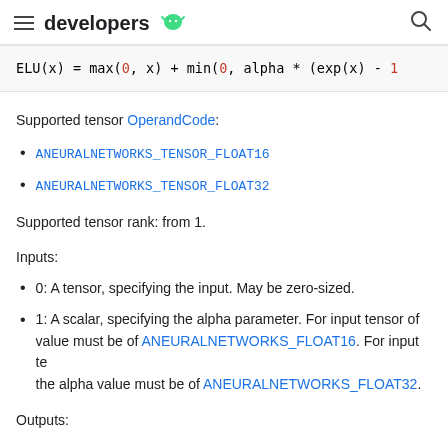developers
ELU(x) = max(0, x) + min(0, alpha * (exp(x) - 1
Supported tensor OperandCode:
ANEURALNETWORKS_TENSOR_FLOAT16
ANEURALNETWORKS_TENSOR_FLOAT32
Supported tensor rank: from 1.
Inputs:
0: A tensor, specifying the input. May be zero-sized.
1: A scalar, specifying the alpha parameter. For input tensor of value must be of ANEURALNETWORKS_FLOAT16. For input te the alpha value must be of ANEURALNETWORKS_FLOAT32.
Outputs: